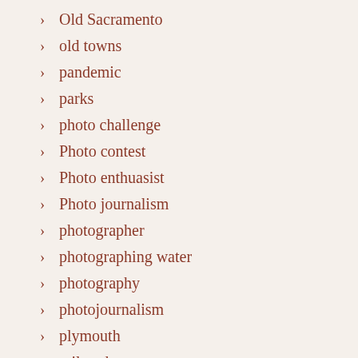Old Sacramento
old towns
pandemic
parks
photo challenge
Photo contest
Photo enthuasist
Photo journalism
photographer
photographing water
photography
photojournalism
plymouth
railroad town
RC Airplanes
River Walk West Sacramento
Rivers
Sacramento